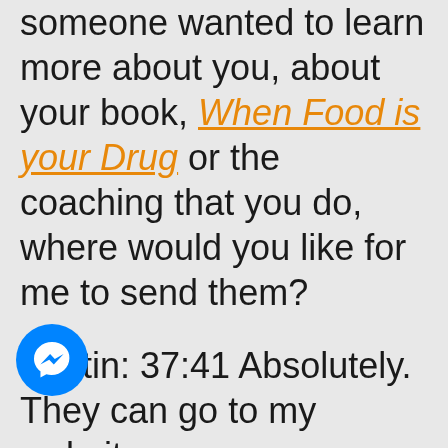someone wanted to learn more about you, about your book, When Food is your Drug or the coaching that you do, where would you like for me to send them?

Kristin: 37:41 Absolutely. They can go to my website, www.KristinJonescoaching.com. There's a couple of different ways you can spell
[Figure (logo): Facebook Messenger icon — blue circle with white lightning bolt/chat bubble logo]